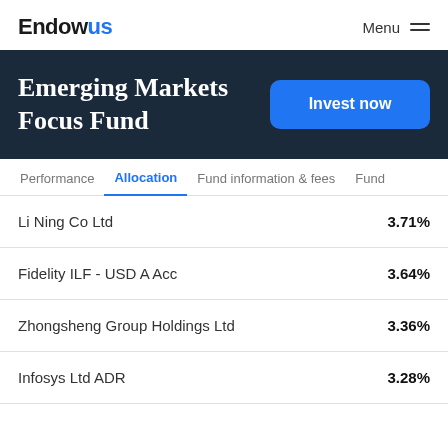Endowus   Menu
Emerging Markets Focus Fund
Invest now
Performance   Allocation   Fund information & fees   Fund
| Holding | Allocation |
| --- | --- |
| Li Ning Co Ltd | 3.71% |
| Fidelity ILF - USD A Acc | 3.64% |
| Zhongsheng Group Holdings Ltd | 3.36% |
| Infosys Ltd ADR | 3.28% |